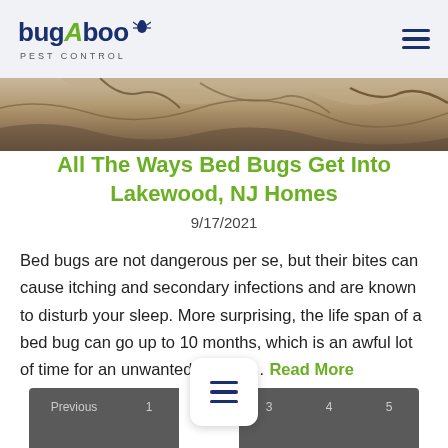bugAboo PEST CONTROL
[Figure (photo): Close-up of cracked stone or rock texture, warm sandy brown tones, partial bottom crop visible]
All The Ways Bed Bugs Get Into Lakewood, NJ Homes
9/17/2021
Bed bugs are not dangerous per se, but their bites can cause itching and secondary infections and are known to disturb your sleep. More surprising, the life span of a bed bug can go up to 10 months, which is an awful lot of time for an unwanted visitor. … Read More
Previous 1 2 3 4 5